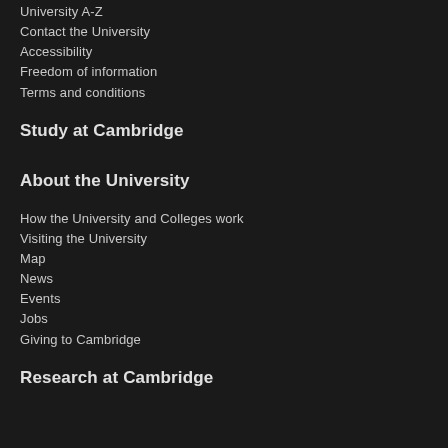University A-Z
Contact the University
Accessibility
Freedom of information
Terms and conditions
Study at Cambridge
About the University
How the University and Colleges work
Visiting the University
Map
News
Events
Jobs
Giving to Cambridge
Research at Cambridge